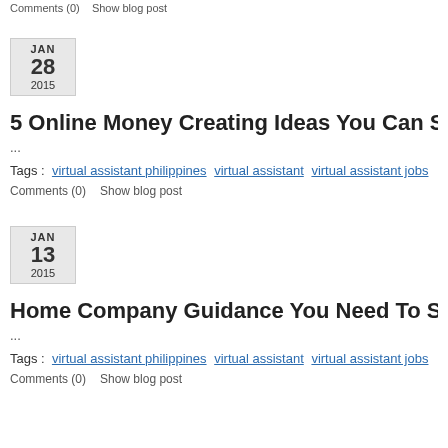Comments (0)   Show blog post
JAN 28 2015
5 Online Money Creating Ideas You Can Start Today
...
Tags : virtual assistant philippines  virtual assistant  virtual assistant jobs
Comments (0)   Show blog post
JAN 13 2015
Home Company Guidance You Need To Study
...
Tags : virtual assistant philippines  virtual assistant  virtual assistant jobs
Comments (0)   Show blog post